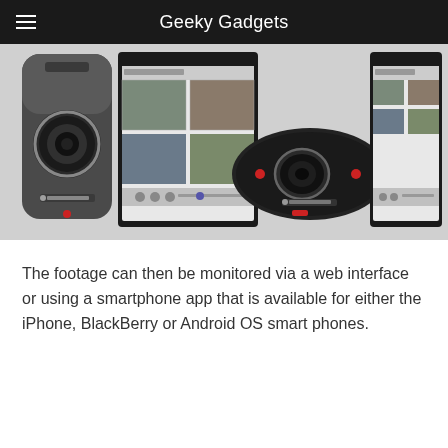Geeky Gadgets
[Figure (photo): Two Logitech security cameras (one tall upright model and one flat oval model) displayed alongside tablet screens showing a security monitoring app interface with camera feeds and controls.]
The footage can then be monitored via a web interface or using a smartphone app that is available for either the iPhone, BlackBerry or Android OS smart phones.